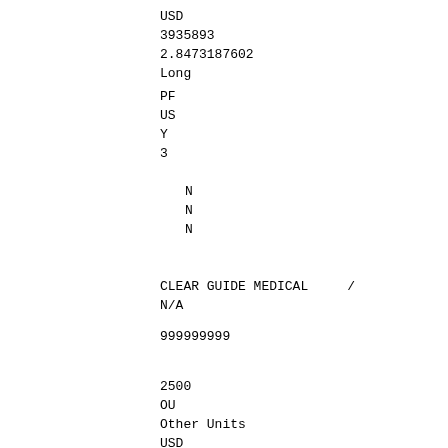USD
3935893
2.8473187602
Long
PF
US
Y
3
N
N
N
CLEAR GUIDE MEDICAL     /
N/A
999999999
2500
OU
Other Units
USD
3469910
2.5102155570
Long